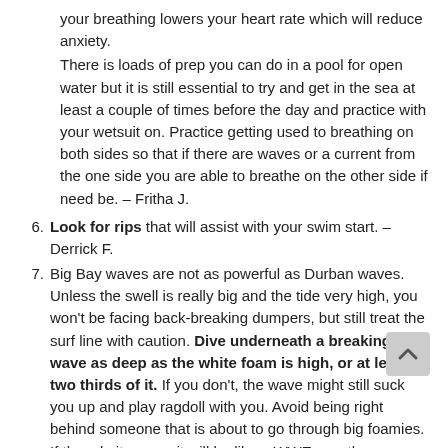your breathing lowers your heart rate which will reduce anxiety.
There is loads of prep you can do in a pool for open water but it is still essential to try and get in the sea at least a couple of times before the day and practice with your wetsuit on. Practice getting used to breathing on both sides so that if there are waves or a current from the one side you are able to breathe on the other side if need be. – Fritha J.
6. Look for rips that will assist with your swim start. – Derrick F.
7. Big Bay waves are not as powerful as Durban waves. Unless the swell is really big and the tide very high, you won't be facing back-breaking dumpers, but still treat the surf line with caution. Dive underneath a breaking wave as deep as the white foam is high, or at least two thirds of it. If you don't, the wave might still suck you up and play ragdoll with you. Avoid being right behind someone that is about to go through big foamies. If they do it wrong, it will be like a WWE wrestler slamming into you. – Frank S.
8. If you're a nervous swimmer, stay on the side at the back of the field and swin in from the side at the back of